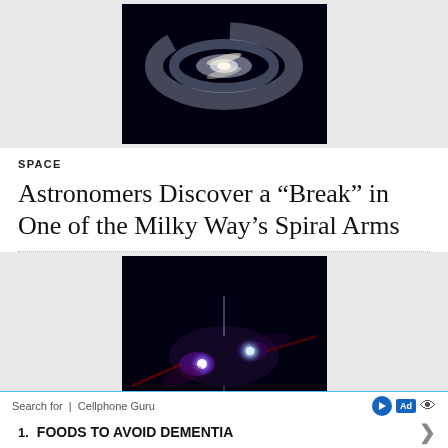[Figure (photo): Illustration of a spiral galaxy (Milky Way) against a black background, partially cropped at top]
SPACE
Astronomers Discover a “Break” in One of the Milky Way’s Spiral Arms
[Figure (photo): Astronomical image showing two bright quasars (Death Star dueling quasars) with glowing blue and pink nebula against black background]
SPACE
“Death Star” Dueling Quasars Looming in the Sky: Hubble Spots
Search for | Cellphone Guru
1. FOODS TO AVOID DEMENTIA